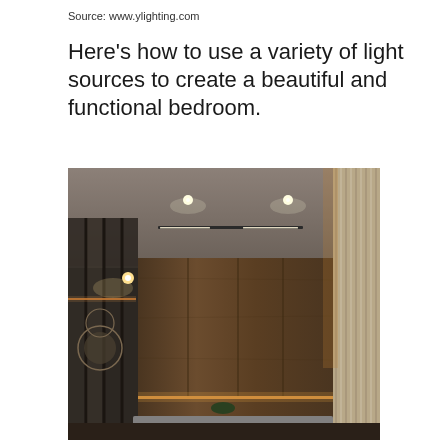Source: www.ylighting.com
Here's how to use a variety of light sources to create a beautiful and functional bedroom.
[Figure (photo): Interior design photo of a modern bedroom with multiple light sources: recessed ceiling spotlights, a linear ceiling light fixture, LED strip lighting along wooden wall panels and shelving, warm ambient cove lighting along a slatted wooden accent wall on the right, and a glass partition wall with mirrored decoration on the left. A grey upholstered bed headboard is visible at the bottom.]